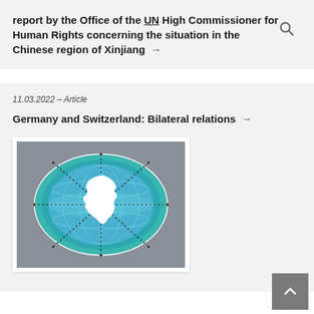report by the Office of the UN High Commissioner for Human Rights concerning the situation in the Chinese region of Xinjiang →
11.03.2022 – Article
Germany and Switzerland: Bilateral relations →
[Figure (illustration): A globe graphic showing an azimuthal/orthographic projection centered on Germany, with a white silhouette of Germany on a blue-teal globe, surrounded by dotted lines radiating outward, on a grey background.]